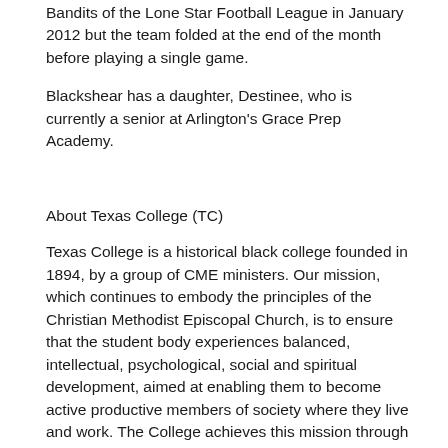He was named head coach of the Mosquito Bandits of the Lone Star Football League in January 2012 but the team folded at the end of the month before playing a single game.
Blackshear has a daughter, Destinee, who is currently a senior at Arlington's Grace Prep Academy.
About Texas College (TC)
Texas College is a historical black college founded in 1894, by a group of CME ministers. Our mission, which continues to embody the principles of the Christian Methodist Episcopal Church, is to ensure that the student body experiences balanced, intellectual, psychological, social and spiritual development, aimed at enabling them to become active productive members of society where they live and work. The College achieves this mission through the core values of Academic Excellence; Integrity; Perseverance; Social Responsibility; Tolerance; and Community Service. TC is led by its 23rd President Dr. Dwight Fennell